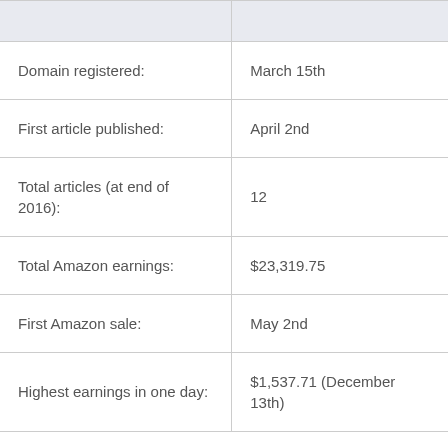|  |  |
| --- | --- |
| Domain registered: | March 15th |
| First article published: | April 2nd |
| Total articles (at end of 2016): | 12 |
| Total Amazon earnings: | $23,319.75 |
| First Amazon sale: | May 2nd |
| Highest earnings in one day: | $1,537.71 (December 13th) |